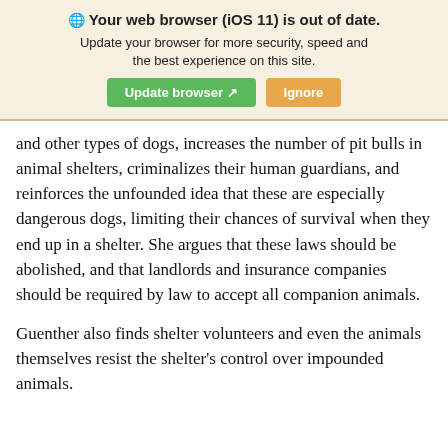[Figure (screenshot): Browser update notification banner with globe icon, bold title 'Your web browser (iOS 11) is out of date.', subtitle text, and two buttons: green 'Update browser' and orange 'Ignore']
and other types of dogs, increases the number of pit bulls in animal shelters, criminalizes their human guardians, and reinforces the unfounded idea that these are especially dangerous dogs, limiting their chances of survival when they end up in a shelter. She argues that these laws should be abolished, and that landlords and insurance companies should be required by law to accept all companion animals.
Guenther also finds shelter volunteers and even the animals themselves resist the shelter’s control over impounded animals.